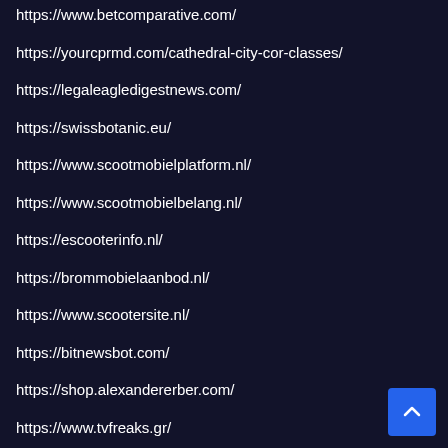https://www.betcomparative.com/
https://yourcprmd.com/cathedral-city-cor-classes/
https://legaleagledigestnews.com/
https://swissbotanic.eu/
https://www.scootmobielplatform.nl/
https://www.scootmobielbelang.nl/
https://escooterinfo.nl/
https://brommobielaanbod.nl/
https://www.scootersite.nl/
https://bitnewsbot.com/
https://shop.alexandererber.com/
https://www.tvfreaks.gr/
https://www.yourcprmd.com/palm-springs-cor-classes/
https://77dragonslot.com/
https://youlike555.co/